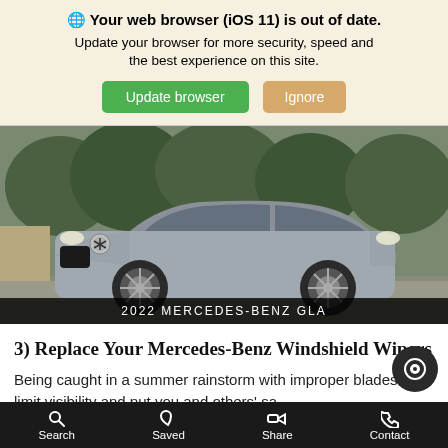🌐 Your web browser (iOS 11) is out of date. Update your browser for more security, speed and the best experience on this site.
Update browser | Ignore
[Figure (photo): Photo of a silver 2022 Mercedes-Benz GLA SUV parked outdoors with trees in the background. Caption reads '2022 MERCEDES-BENZ GLA'.]
3) Replace Your Mercedes-Benz Windshield Wipers
Being caught in a summer rainstorm with improper blades can limit visibility and put you and others' sa
Search   Saved   Share   Contact